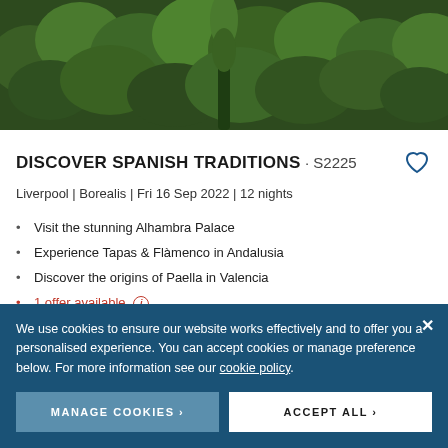[Figure (photo): Aerial view of dense green forest/trees photographed from above]
DISCOVER SPANISH TRADITIONS · S2225
Liverpool | Borealis | Fri 16 Sep 2022 | 12 nights
Visit the stunning Alhambra Palace
Experience Tapas & Flàmenco in Andalusia
Discover the origins of Paella in Valencia
1 offer available ⓘ
ITINERARY
From
We use cookies to ensure our website works effectively and to offer you a personalised experience. You can accept cookies or manage preference below. For more information see our cookie policy.
MANAGE COOKIES ›
ACCEPT ALL ›